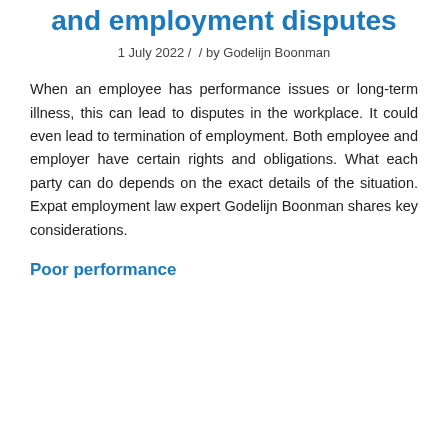and employment disputes
1 July 2022 /  / by Godelijn Boonman
When an employee has performance issues or long-term illness, this can lead to disputes in the workplace. It could even lead to termination of employment. Both employee and employer have certain rights and obligations. What each party can do depends on the exact details of the situation. Expat employment law expert Godelijn Boonman shares key considerations.
Poor performance